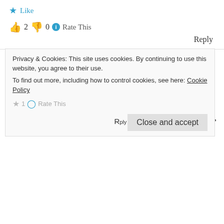★ Like
👍 2 👎 0 ℹ Rate This
Reply
JUWONODUTAYO says:
March 5, 2014 at 3:50 pm
Wow! Wow! I duff my heart bro. You killed it!!! You hold no punches. I like you. For this I can give you my sister to marry, I'm not kidding. God bless you.
Privacy & Cookies: This site uses cookies. By continuing to use this website, you agree to their use.
To find out more, including how to control cookies, see here: Cookie Policy
Close and accept